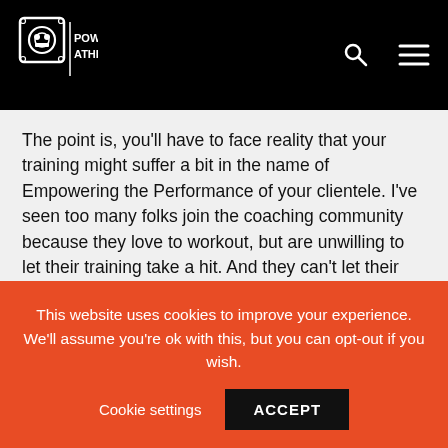POWER ATHLETE
The point is, you'll have to face reality that your training might suffer a bit in the name of Empowering the Performance of your clientele. I've seen too many folks join the coaching community because they love to workout, but are unwilling to let their training take a hit. And they can't let their #mainhustle slip, so the only thing left to suffer is their coaching game.
[Figure (photo): Broken/unloaded image placeholder]
This website uses cookies to improve your experience. We'll assume you're ok with this, but you can opt-out if you wish. Cookie settings ACCEPT